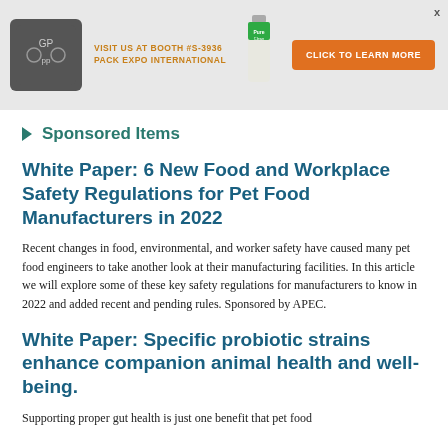[Figure (infographic): Banner advertisement: Logo with GP branding, text 'VISIT US AT BOOTH #S-3936 PACK EXPO INTERNATIONAL', product bottle image, orange button 'CLICK TO LEARN MORE', close X button]
Sponsored Items
White Paper: 6 New Food and Workplace Safety Regulations for Pet Food Manufacturers in 2022
Recent changes in food, environmental, and worker safety have caused many pet food engineers to take another look at their manufacturing facilities. In this article we will explore some of these key safety regulations for manufacturers to know in 2022 and added recent and pending rules. Sponsored by APEC.
White Paper: Specific probiotic strains enhance companion animal health and well-being.
Supporting proper gut health is just one benefit that pet food